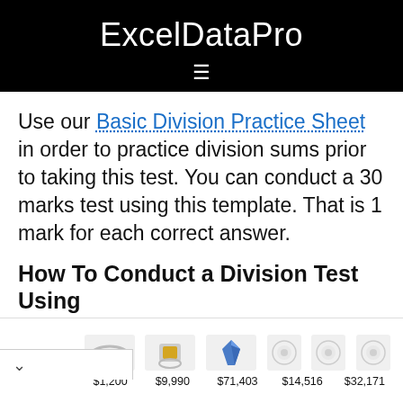ExcelDataPro
Use our Basic Division Practice Sheet in order to practice division sums prior to taking this test. You can conduct a 30 marks test using this template. That is 1 mark for each correct answer.
How To Conduct a Division Test Using
[Figure (other): Leibish jewelry advertisement banner showing rings and gemstones with prices: $1,200, $9,990, $71,403, $14,516, $32,171]